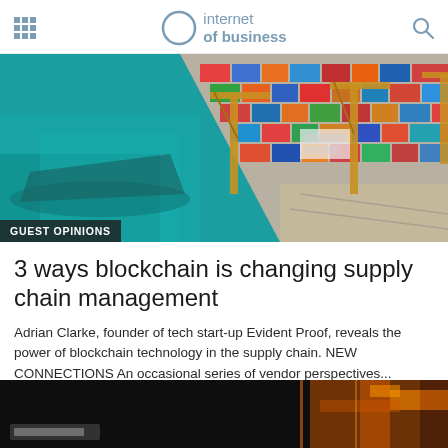internet of business
[Figure (photo): Aerial view of a shipping port with colorful cargo containers, cranes, and teal blue water. A 'GUEST OPINIONS' label is overlaid on the bottom left of the image.]
3 ways blockchain is changing supply chain management
Adrian Clarke, founder of tech start-up Evident Proof, reveals the power of blockchain technology in the supply chain. NEW CONNECTIONS An occasional series of vendor perspectives...
[Figure (photo): Partial view of a dark background with blurred orange and white neon/digital display elements, a data or technology themed image partially visible at bottom of page.]